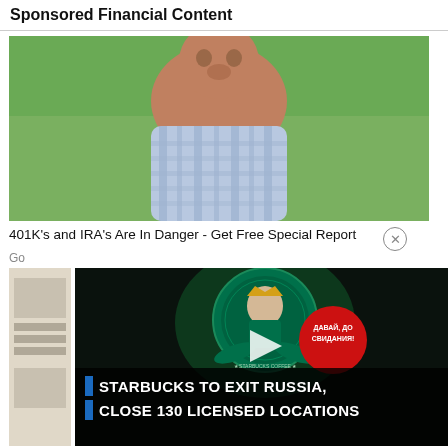Sponsored Financial Content
[Figure (photo): Elderly man in blue plaid shirt standing outdoors on a green lawn, upper body visible, looking at camera]
401K's and IRA's Are In Danger - Get Free Special Report
Go
[Figure (screenshot): Video thumbnail showing Starbucks logo on a dark background with a red circular sticker reading ДАВАЙ, ДО СВИДАНИЯ! and a play button. Lower third text overlay reads: STARBUCKS TO EXIT RUSSIA, CLOSE 130 LICENSED LOCATIONS]